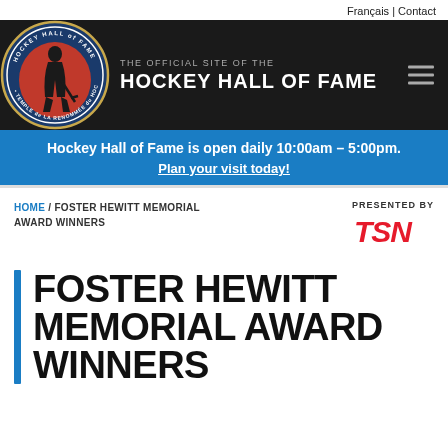Français | Contact
[Figure (logo): Hockey Hall of Fame circular logo with hockey player silhouette]
THE OFFICIAL SITE OF THE HOCKEY HALL OF FAME
Hockey Hall of Fame is open daily 10:00am – 5:00pm. Plan your visit today!
HOME / FOSTER HEWITT MEMORIAL AWARD WINNERS
[Figure (logo): TSN logo in red italic letters]
FOSTER HEWITT MEMORIAL AWARD WINNERS